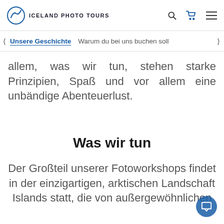ICELAND PHOTO TOURS
Unsere Geschichte   Warum du bei uns buchen soll
allem, was wir tun, stehen starke Prinzipien, Spaß und vor allem eine unbändige Abenteuerlust.
Was wir tun
Der Großteil unserer Fotoworkshops findet in der einzigartigen, arktischen Landschaft Islands statt, die von außergewöhnlichen